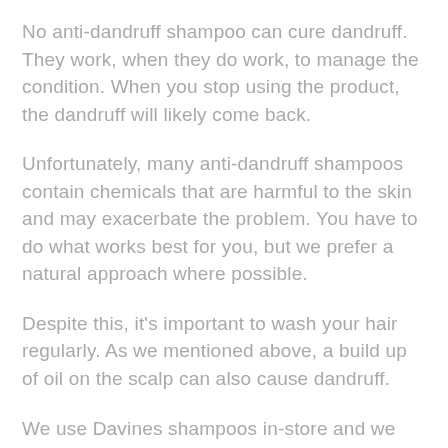No anti-dandruff shampoo can cure dandruff. They work, when they do work, to manage the condition. When you stop using the product, the dandruff will likely come back.
Unfortunately, many anti-dandruff shampoos contain chemicals that are harmful to the skin and may exacerbate the problem. You have to do what works best for you, but we prefer a natural approach where possible.
Despite this, it's important to wash your hair regularly. As we mentioned above, a build up of oil on the scalp can also cause dandruff.
We use Davines shampoos in-store and we recommend their Purifying Shampoo as part of a well-